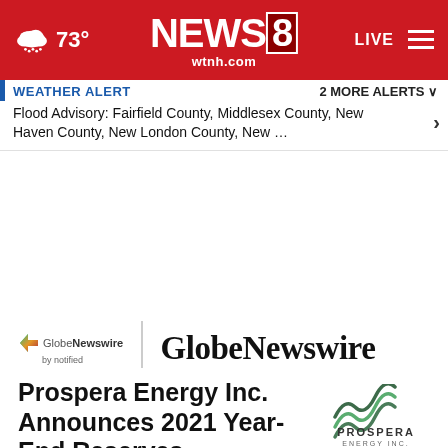NEWS8 wtnh.com | LIVE | 73°
WEATHER ALERT   2 MORE ALERTS ∨
Flood Advisory: Fairfield County, Middlesex County, New Haven County, New London County, New …
[Figure (logo): GlobeNewswire by notified logo with large GlobeNewswire text]
Prospera Energy Inc. Announces 2021 Year-End Reserves
[Figure (logo): Prospera Energy Inc. logo with stylized green wave icon]